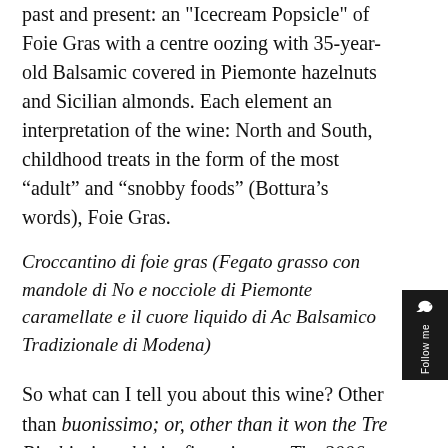past and present: an "Icecream Popsicle" of Foie Gras with a centre oozing with 35-year-old Balsamic covered in Piemonte hazelnuts and Sicilian almonds. Each element an interpretation of the wine: North and South, childhood treats in the form of the most “adult” and “snobby foods” (Bottura’s words), Foie Gras.
Croccantino di foie gras (Fegato grasso con mandole di No e nocciole di Piemonte caramellate e il cuore liquido di Ac Balsamico Tradizionale di Modena)
So what can I tell you about this wine? Other than buonissimo; or, other than it won the Tre Bicchieri on this its first vintage. The 2006 Coevo avoids the “excess styles” of each region: it has the mouth-watering tannins of Chianti but is not searingly dry. It has opulent fruit but it’s cool with blue tints of Maremma. The 2006 Coevo is a re-interpretation of modern Italian wine, dominated by the big